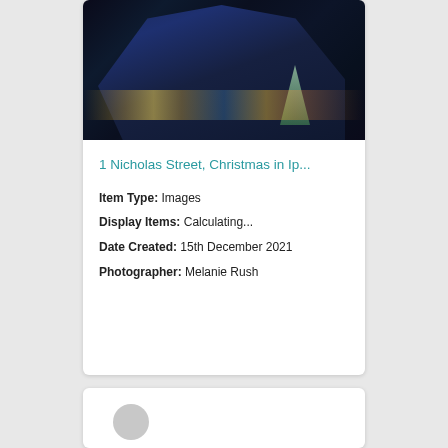[Figure (photo): Night photograph of 1 Nicholas Street building decorated with Christmas lights, illuminated blue facade, Christmas tree visible, colorful lights in foreground]
1 Nicholas Street, Christmas in Ip...
Item Type: Images
Display Items: Calculating...
Date Created: 15th December 2021
Photographer: Melanie Rush
[Figure (other): Card with gray circle placeholder icon at bottom of page]